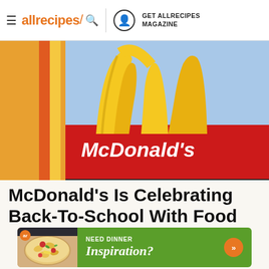allrecipes | GET ALLRECIPES MAGAZINE
[Figure (photo): Close-up photo of McDonald's golden arches sign with red McDonald's branding, against a blue sky background, with orange and red vertical color strips on the left side]
McDonald's Is Celebrating Back-To-School With Food Deals Next Week
[Figure (infographic): Advertisement banner: allrecipes ad showing pasta salad food photo on left, green background on right with text 'NEED DINNER Inspiration?' and orange chevron arrow button]